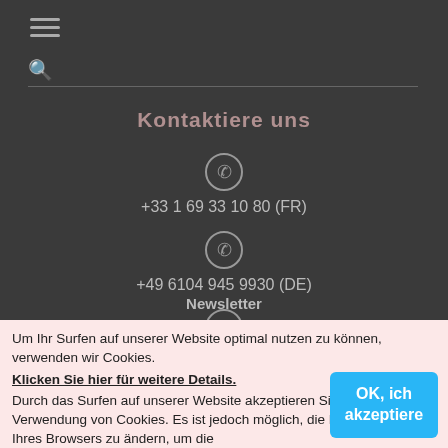[Figure (screenshot): Hamburger menu icon (three horizontal lines) in dark gray]
[Figure (screenshot): Search magnifying glass icon]
Kontaktiere uns
[Figure (screenshot): Phone icon circle]
+33 1 69 33 10 80 (FR)
[Figure (screenshot): Phone icon circle]
+49 6104 945 9930 (DE)
Newsletter
Um Ihr Surfen auf unserer Website optimal nutzen zu können, verwenden wir Cookies.
Klicken Sie hier für weitere Details.
Durch das Surfen auf unserer Website akzeptieren Sie die Verwendung von Cookies. Es ist jedoch möglich, die Konfiguration Ihres Browsers zu ändern, um die
OK, ich akzeptiere